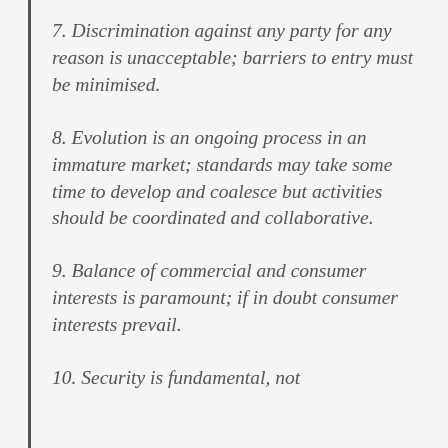7. Discrimination against any party for any reason is unacceptable; barriers to entry must be minimised.
8. Evolution is an ongoing process in an immature market; standards may take some time to develop and coalesce but activities should be coordinated and collaborative.
9. Balance of commercial and consumer interests is paramount; if in doubt consumer interests prevail.
10. Security is fundamental, not